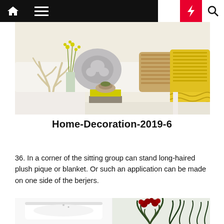Home-Decoration-2019-6
[Figure (photo): Interior decoration photo showing a sofa with decorative pillows (grey floral, yellow woven, yellow and white patterned), antler sculpture, glass vase with yellow flowers, a bowl on stacked books on a coffee table.]
Home-Decoration-2019-6
36. In a corner of the sitting group can stand long-haired plush pique or blanket. Or such an application can be made on one side of the berjers.
[Figure (photo): Bottom image showing a white bathtub on the left and red flowers with dark green plants on the right.]